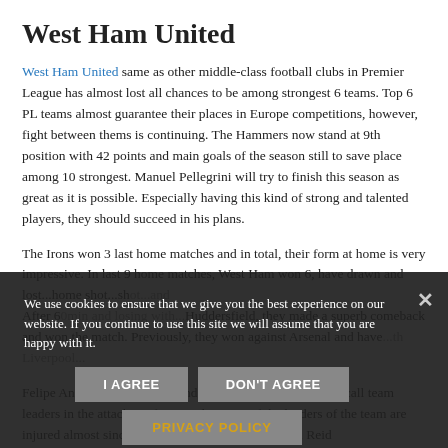West Ham United
West Ham United same as other middle-class football clubs in Premier League has almost lost all chances to be among strongest 6 teams. Top 6 PL teams almost guarantee their places in Europe competitions, however, fight between thems is continuing. The Hammers now stand at 9th position with 42 points and main goals of the season still to save place among 10 strongest. Manuel Pellegrini will try to finish this season as great as it is possible. Especially having this kind of strong and talented players, they should succeed in his plans.
The Irons won 3 last home matches and in total, their form at home is very impressive. In last 9 home matches, West Ham won 6, have drawn and lost...home...After 60min and losing with...Huddersfield, they made a superb comeback and won the match. Previously, they won against Arsenal and have...with Liverpool...
We use cookies to ensure that we give you the best experience on our website. If you continue to use this site we will assume that you are happy with it.
Felipe Anderson, Chicharito and Marko Arnautovic we can call team leaders in the attack. Unfortunately, some of the leaders of the team are injured almost since the start of the season. Winston Reid...